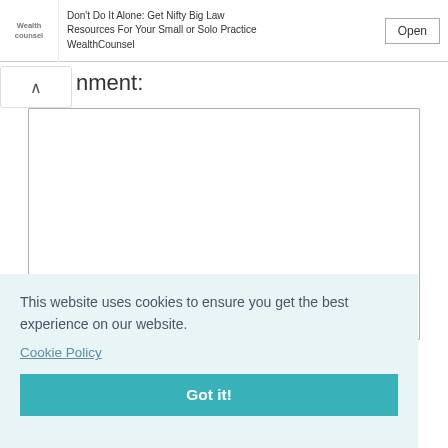[Figure (screenshot): Advertisement bar with WealthCounsel logo, ad text about Big Law Resources, and Open button]
nment:
[Figure (screenshot): Empty comment textarea input field]
This website uses cookies to ensure you get the best experience on our website. Cookie Policy
Got it!